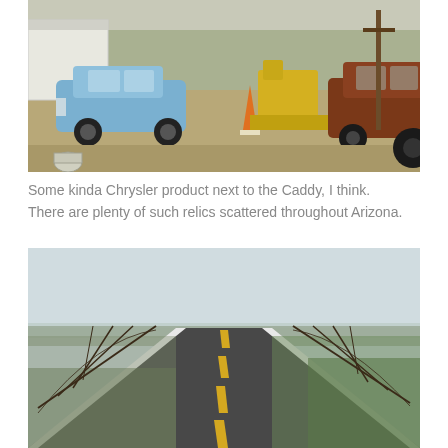[Figure (photo): Outdoor junkyard or lot with old vintage cars parked on dusty gravel. A light blue Cadillac is prominent on the left, next to a rusted brown/maroon classic car (Chrysler product). Yellow construction equipment visible in background. Utility poles and sparse vegetation in background.]
Some kinda Chrysler product next to the Caddy, I think. There are plenty of such relics scattered throughout Arizona.
[Figure (photo): A long straight two-lane road stretching to the horizon in rural Arizona. Yellow center line dashes visible on dark asphalt. White edge lines on both sides. Utility poles line both sides of the road. Desert scrub brush and some green vegetation visible on sides. Hazy sky above flat landscape.]